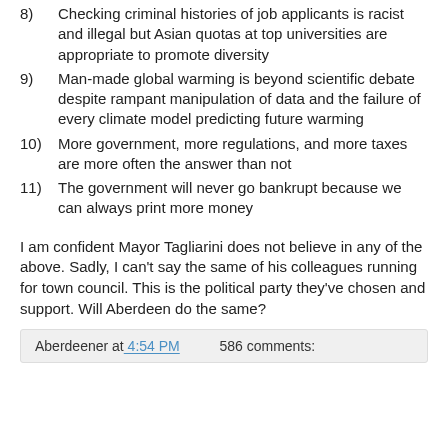8)   Checking criminal histories of job applicants is racist and illegal but Asian quotas at top universities are appropriate to promote diversity
9)   Man-made global warming is beyond scientific debate despite rampant manipulation of data and the failure of every climate model predicting future warming
10)  More government, more regulations, and more taxes are more often the answer than not
11)  The government will never go bankrupt because we can always print more money
I am confident Mayor Tagliarini does not believe in any of the above. Sadly, I can't say the same of his colleagues running for town council. This is the political party they've chosen and support. Will Aberdeen do the same?
Aberdeener at 4:54 PM    586 comments: